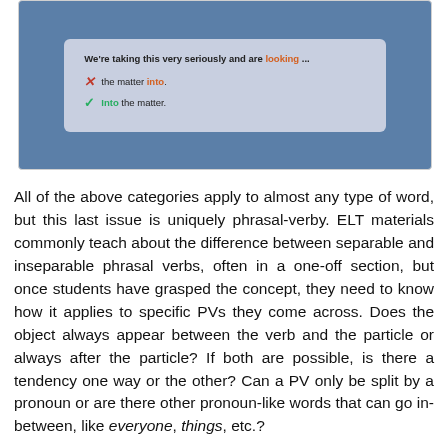[Figure (illustration): A screenshot/illustration showing a blue-background box containing an inner grey card. The card displays the text 'We're taking this very seriously and are looking ...' followed by a wrong answer line with a red X: 'the matter into.' and a correct answer line with a green check: 'Into the matter.' The words 'looking', 'into', and 'Into' are highlighted in orange/green.]
All of the above categories apply to almost any type of word, but this last issue is uniquely phrasal-verby. ELT materials commonly teach about the difference between separable and inseparable phrasal verbs, often in a one-off section, but once students have grasped the concept, they need to know how it applies to specific PVs they come across. Does the object always appear between the verb and the particle or always after the particle? If both are possible, is there a tendency one way or the other? Can a PV only be split by a pronoun or are there other pronoun-like words that can go in-between, like everyone, things, etc.?